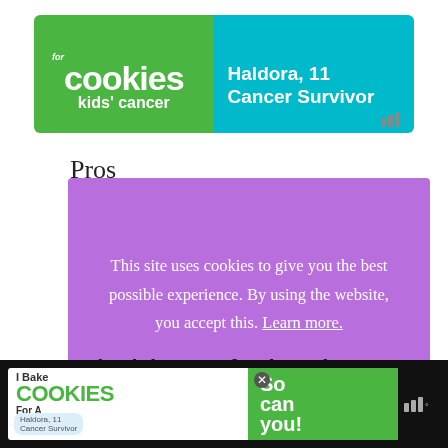[Figure (illustration): Advertisement banner for 'cookies for kids cancer' showing green and teal sections with text 'Haldora, 11 Cancer Survivor']
Pros
This site uses cookies to give you the best possible experience. By using the website, you accept this. Learn more.
Accept  X
Cotton/Acrylic Blend
Knit Picks Comfy Fingering Yarn
[Figure (illustration): Bottom advertisement banner for 'I Bake COOKIES For A CURE' campaign with Haldora, 11 Cancer Survivor branding on dark background]